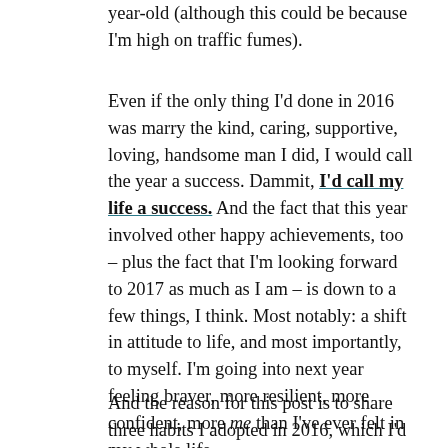year-old (although this could be because I'm high on traffic fumes).
Even if the only thing I'd done in 2016 was marry the kind, caring, supportive, loving, handsome man I did, I would call the year a success. Dammit, I'd call my life a success. And the fact that this year involved other happy achievements, too – plus the fact that I'm looking forward to 2017 as much as I am – is down to a few things, I think. Most notably: a shift in attitude to life, and most importantly, to myself. I'm going into next year feeling braver, more resilient, more confident, more me than I've ever felt in my whole life.
And the reason for this post is to share three habits I adopted in 2016, which I'd not bring into 2017...